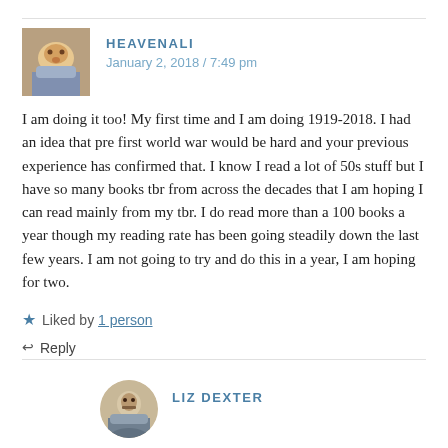HEAVENALI
January 2, 2018 / 7:49 pm
I am doing it too! My first time and I am doing 1919-2018. I had an idea that pre first world war would be hard and your previous experience has confirmed that. I know I read a lot of 50s stuff but I have so many books tbr from across the decades that I am hoping I can read mainly from my tbr. I do read more than a 100 books a year though my reading rate has been going steadily down the last few years. I am not going to try and do this in a year, I am hoping for two.
Liked by 1 person
Reply
LIZ DEXTER